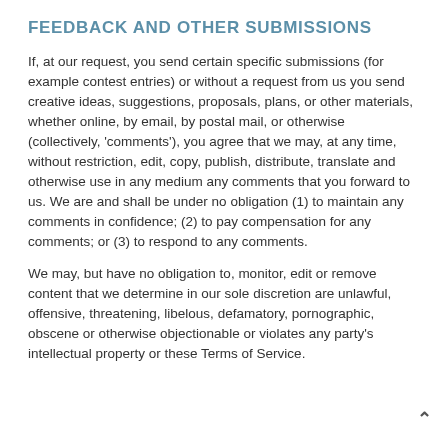FEEDBACK AND OTHER SUBMISSIONS
If, at our request, you send certain specific submissions (for example contest entries) or without a request from us you send creative ideas, suggestions, proposals, plans, or other materials, whether online, by email, by postal mail, or otherwise (collectively, 'comments'), you agree that we may, at any time, without restriction, edit, copy, publish, distribute, translate and otherwise use in any medium any comments that you forward to us. We are and shall be under no obligation (1) to maintain any comments in confidence; (2) to pay compensation for any comments; or (3) to respond to any comments.
We may, but have no obligation to, monitor, edit or remove content that we determine in our sole discretion are unlawful, offensive, threatening, libelous, defamatory, pornographic, obscene or otherwise objectionable or violates any party's intellectual property or these Terms of Service.